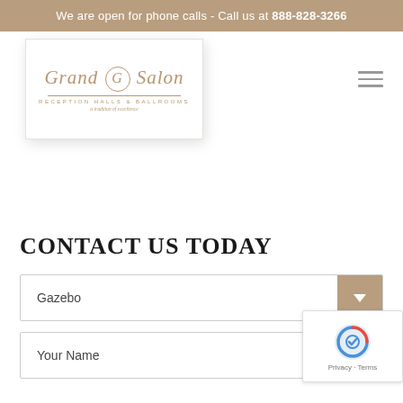We are open for phone calls - Call us at 888-828-3266
[Figure (logo): Grand G Salon - Reception Halls & Ballrooms logo in gold italic script with circular G emblem]
CONTACT US TODAY
Gazebo
Your Name